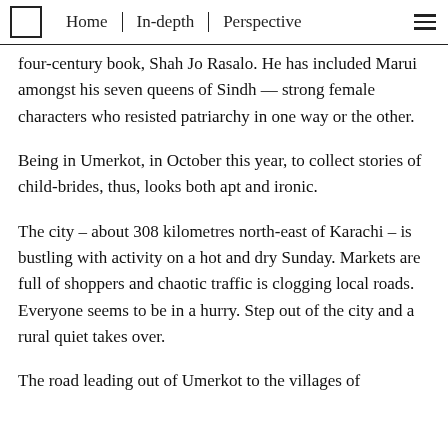Home | In-depth | Perspective
four-century book, Shah Jo Rasalo. He has included Marui amongst his seven queens of Sindh — strong female characters who resisted patriarchy in one way or the other.
Being in Umerkot, in October this year, to collect stories of child-brides, thus, looks both apt and ironic.
The city – about 308 kilometres north-east of Karachi – is bustling with activity on a hot and dry Sunday. Markets are full of shoppers and chaotic traffic is clogging local roads. Everyone seems to be in a hurry. Step out of the city and a rural quiet takes over.
The road leading out of Umerkot to the villages of...